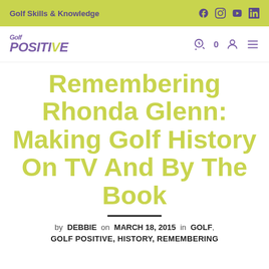Golf Skills & Knowledge
[Figure (logo): Golf Positive logo with stylized text in purple]
Remembering Rhonda Glenn: Making Golf History On TV And By The Book
by DEBBIE on MARCH 18, 2015 in GOLF,
GOLF POSITIVE, HISTORY, REMEMBERING